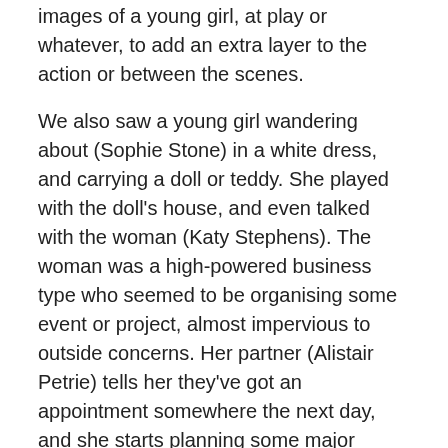images of a young girl, at play or whatever, to add an extra layer to the action or between the scenes.
We also saw a young girl wandering about (Sophie Stone) in a white dress, and carrying a doll or teddy. She played with the doll's house, and even talked with the woman (Katy Stephens). The woman was a high-powered business type who seemed to be organising some event or project, almost impervious to outside concerns. Her partner (Alistair Petrie) tells her they've got an appointment somewhere the next day, and she starts planning some major changes, cancelling work, etc. It turns out that a young baby, whose mother is a drug addict, is available for them to foster, and if the mother drops out of rehab they'll be able to keep her. The play follows the process of the handover and the woman's need to keep a connection going with the birth mother,